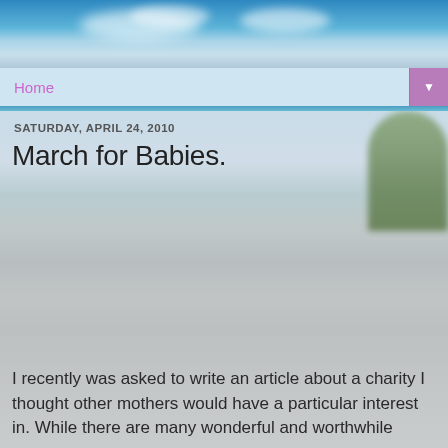[Figure (photo): Blog website header with blue sky and blurred road/landscape background image]
Home
SATURDAY, APRIL 24, 2010
March for Babies.
I recently was asked to write an article about a charity I thought other mothers would have a particular interest in. While there are many wonderful and worthwhile causes